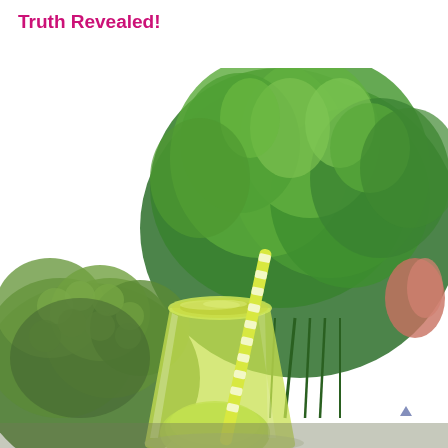Truth Revealed!
[Figure (photo): A glass of green juice/smoothie with a yellow-green striped straw, surrounded by fresh broccoli florets and a bunch of fresh green parsley/cilantro herbs, on a white background.]